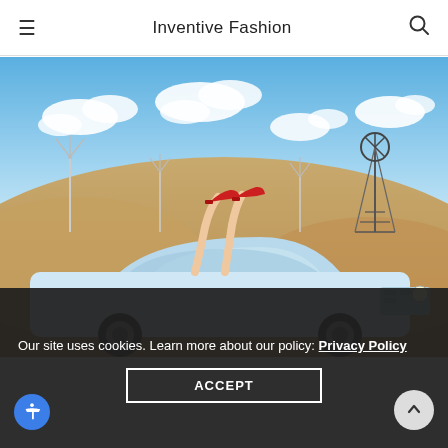Inventive Fashion
[Figure (photo): A woman lying in a classic white convertible Ford Mustang with red high heels in the air, set against a desert landscape with wind turbines and an old windmill tower under a blue sky with clouds.]
Our site uses cookies. Learn more about our policy: Privacy Policy
ACCEPT